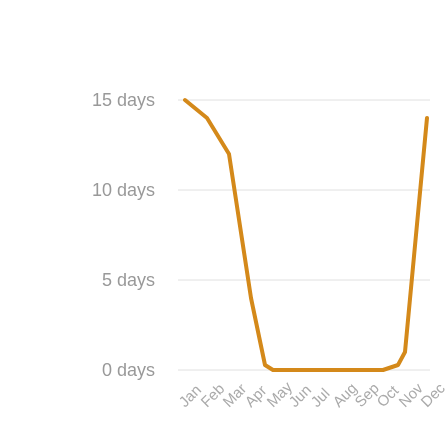[Figure (line-chart): ]
Alford
BestPlaces.Net
[Figure (map): Map interface with zoom controls (+/-), Select Map Options dropdown, and scroll-to-top button. Map area shown in light grey.]